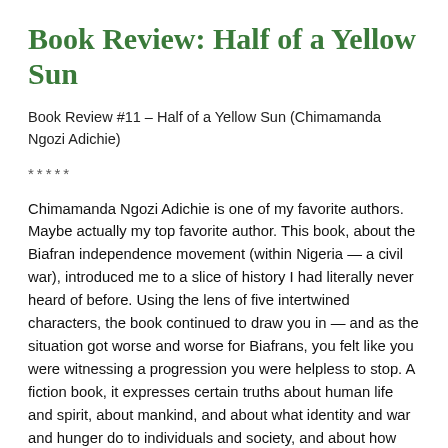Book Review: Half of a Yellow Sun
Book Review #11 – Half of a Yellow Sun (Chimamanda Ngozi Adichie)
*****
Chimamanda Ngozi Adichie is one of my favorite authors. Maybe actually my top favorite author. This book, about the Biafran independence movement (within Nigeria — a civil war), introduced me to a slice of history I had literally never heard of before. Using the lens of five intertwined characters, the book continued to draw you in — and as the situation got worse and worse for Biafrans, you felt like you were witnessing a progression you were helpless to stop. A fiction book, it expresses certain truths about human life and spirit, about mankind, and about what identity and war and hunger do to individuals and society, and about how the entire world is intertwined in a way Westerners aren't always willing to admit. It's